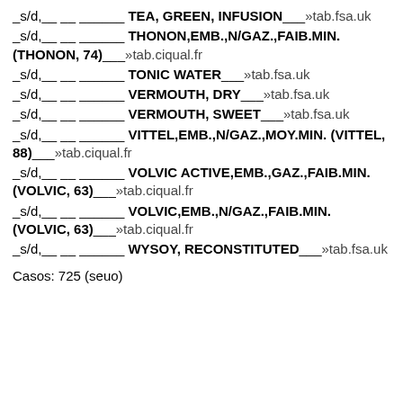_s/d,__ __ ______ TEA, GREEN, INFUSION___»tab.fsa.uk
_s/d,__ __ ______ THONON,EMB.,N/GAZ.,FAIB.MIN. (THONON, 74)___»tab.ciqual.fr
_s/d,__ __ ______ TONIC WATER___»tab.fsa.uk
_s/d,__ __ ______ VERMOUTH, DRY___»tab.fsa.uk
_s/d,__ __ ______ VERMOUTH, SWEET___»tab.fsa.uk
_s/d,__ __ ______ VITTEL,EMB.,N/GAZ.,MOY.MIN. (VITTEL, 88)___»tab.ciqual.fr
_s/d,__ __ ______ VOLVIC ACTIVE,EMB.,GAZ.,FAIB.MIN. (VOLVIC, 63)___»tab.ciqual.fr
_s/d,__ __ ______ VOLVIC,EMB.,N/GAZ.,FAIB.MIN. (VOLVIC, 63)___»tab.ciqual.fr
_s/d,__ __ ______ WYSOY, RECONSTITUTED___»tab.fsa.uk
Casos: 725 (seuo)